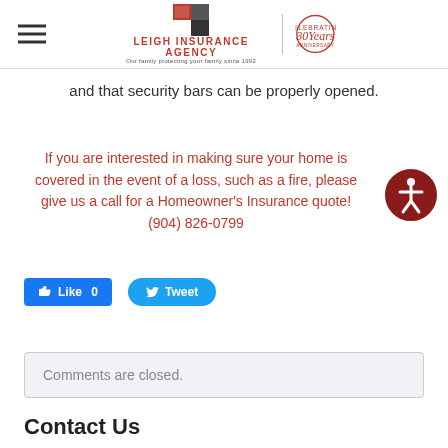[Figure (logo): Leigh Insurance Agency logo with hamburger menu icon and 30 Years anniversary badge]
and that security bars can be properly opened.
If you are interested in making sure your home is covered in the event of a loss, such as a fire, please give us a call for a Homeowner's Insurance quote!
(904) 826-0799
[Figure (illustration): Accessibility button icon - person in circle]
[Figure (infographic): Facebook Like button (0 likes) and Twitter Tweet button]
Comments are closed.
Contact Us